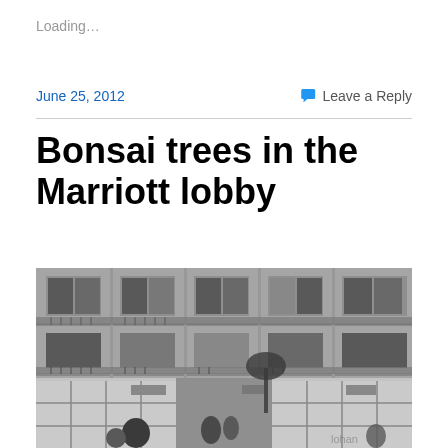Loading...
June 25, 2012
Leave a Reply
Bonsai trees in the Marriott lobby
[Figure (photo): Black and white photograph of a multi-story hotel building (Marriott) exterior showing balconies and railings across two floors, with a lower entrance area featuring grid-patterned windows and people visible at the bottom]